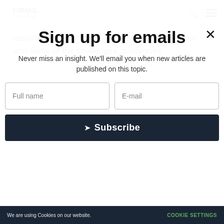FIRMS consulting
today's Strategy Insights by talking about a client and some of the challenges, successes
Sign up for emails
Never miss an insight. We'll email you when new articles are published on this topic.
Full name
E-mail
Subscribe
We are using Cookies on our website.  COOKIE SETTINGS